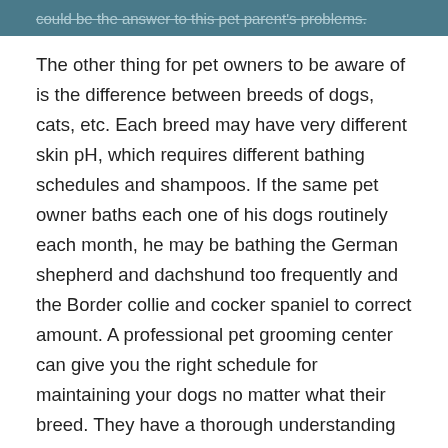could be the answer to this pet parent's problems.
The other thing for pet owners to be aware of is the difference between breeds of dogs, cats, etc. Each breed may have very different skin pH, which requires different bathing schedules and shampoos. If the same pet owner baths each one of his dogs routinely each month, he may be bathing the German shepherd and dachshund too frequently and the Border collie and cocker spaniel to correct amount. A professional pet grooming center can give you the right schedule for maintaining your dogs no matter what their breed. They have a thorough understanding of all the dog grooming needs of your pet. When should nails be clipped? How do you clean your dog's ears, especially dogs with pendulous ears like a cocker spaniel or a dachshund, which are more prone to ear infections? Do you trim your cats claws and how often? Do you